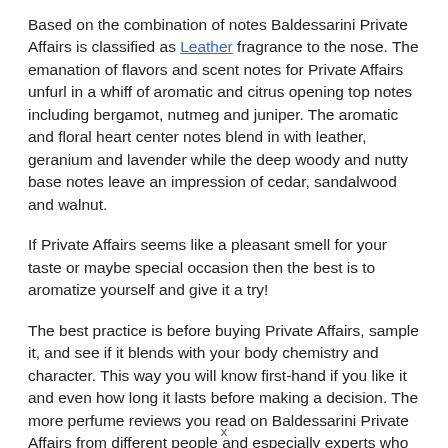Based on the combination of notes Baldessarini Private Affairs is classified as Leather fragrance to the nose. The emanation of flavors and scent notes for Private Affairs unfurl in a whiff of aromatic and citrus opening top notes including bergamot, nutmeg and juniper. The aromatic and floral heart center notes blend in with leather, geranium and lavender while the deep woody and nutty base notes leave an impression of cedar, sandalwood and walnut.
If Private Affairs seems like a pleasant smell for your taste or maybe special occasion then the best is to aromatize yourself and give it a try!
The best practice is before buying Private Affairs, sample it, and see if it blends with your body chemistry and character. This way you will know first-hand if you like it and even how long it lasts before making a decision. The more perfume reviews you read on Baldessarini Private Affairs from different people and especially experts who have the nose the better prepared for making your choice.
How long does Private Affairs last? Well in general this is dependable on many factors from skin chemistry to the time of the
x